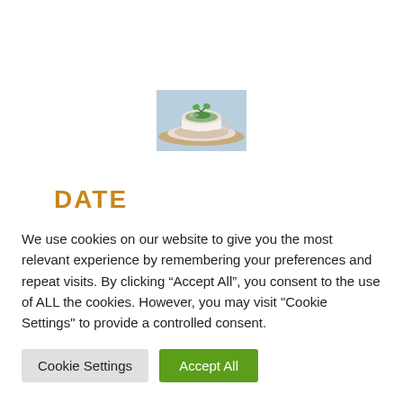[Figure (photo): Small image of a tea cup with a green plant/herb, placed on a saucer, photographed from above at an angle.]
DATE
We use cookies on our website to give you the most relevant experience by remembering your preferences and repeat visits. By clicking “Accept All”, you consent to the use of ALL the cookies. However, you may visit "Cookie Settings" to provide a controlled consent.
Cookie Settings | Accept All